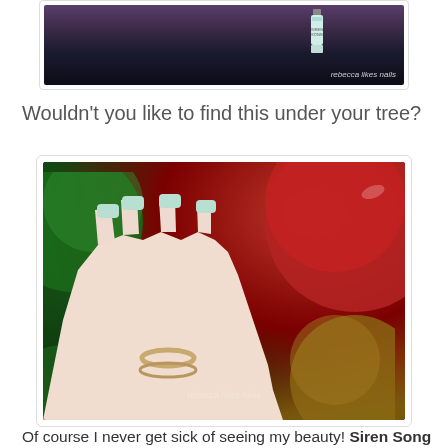[Figure (photo): Photo of nail polish bottles on dark background with watermark 'rebecca likes nails']
Wouldn't you like to find this under your tree?
[Figure (photo): Close-up photo of a hand with mint/seafoam green nail polish and a gold ring, posed against Christmas ornaments (red and green) in the background]
Of course I never get sick of seeing my beauty! Siren Song is my pride and joy. It fills me with excitement every time someone posts a picture of them wearing it. I'm ecstatic when my friends buy it, and even some of my friend's moms have bought it! I couldn't be happier about this whole